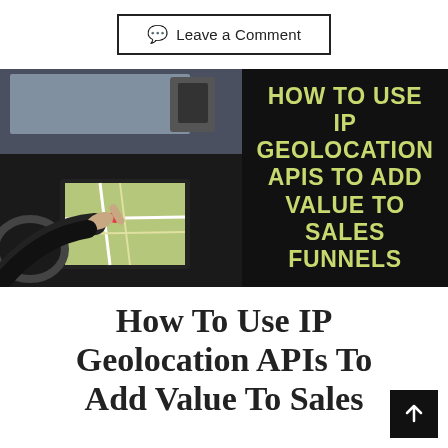Leave a Comment
[Figure (photo): Car interior with a hand pointing at a GPS navigation touchscreen, black background panel with bold yellow-green text: HOW TO USE IP GEOLOCATION APIS TO ADD VALUE TO SALES FUNNELS]
How To Use IP Geolocation APIs To Add Value To Sales